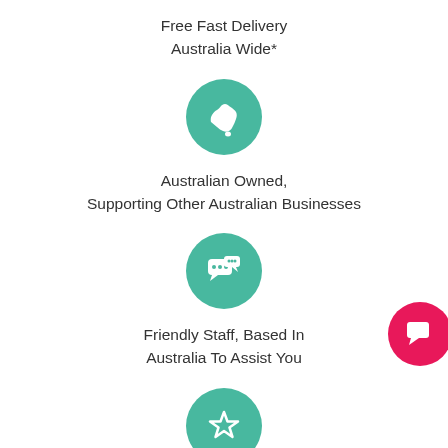Free Fast Delivery
Australia Wide*
[Figure (illustration): Green circle icon with white Australia map silhouette]
Australian Owned,
Supporting Other Australian Businesses
[Figure (illustration): Green circle icon with white chat/speech bubbles with dots]
Friendly Staff, Based In
Australia To Assist You
[Figure (illustration): Pink circle icon with white chat/megaphone icon (bottom right corner)]
[Figure (illustration): Green circle icon with white star outline]
Quality In Everything